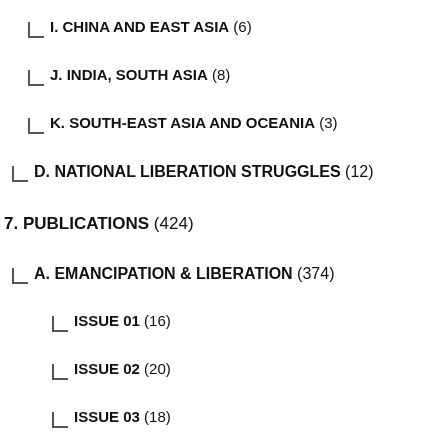I. CHINA AND EAST ASIA (6)
J. INDIA, SOUTH ASIA (8)
K. SOUTH-EAST ASIA AND OCEANIA (3)
D. NATIONAL LIBERATION STRUGGLES (12)
7. PUBLICATIONS (424)
A. EMANCIPATION & LIBERATION (374)
ISSUE 01 (16)
ISSUE 02 (20)
ISSUE 03 (18)